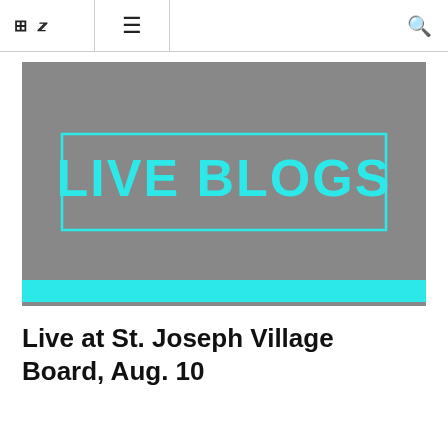f  🐦  ☰  🔍
[Figure (illustration): Gray rectangular banner image with a cyan/teal outlined rectangle in the center containing bold cyan text 'LIVE BLOGS' in uppercase. A solid cyan horizontal bar runs across the bottom of the image.]
Live at St. Joseph Village Board, Aug. 10